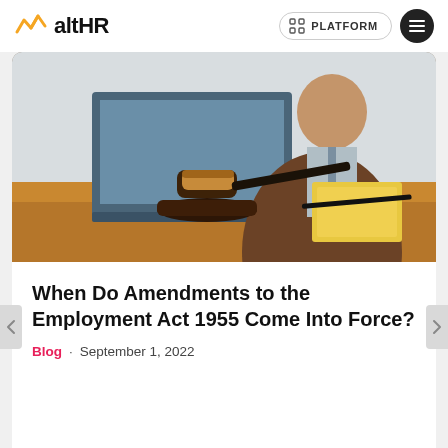altHR — PLATFORM
[Figure (photo): A man in a brown blazer sitting at a desk with a laptop, and a judge's gavel on the wooden table in the foreground.]
When Do Amendments to the Employment Act 1955 Come Into Force?
Blog · September 1, 2022